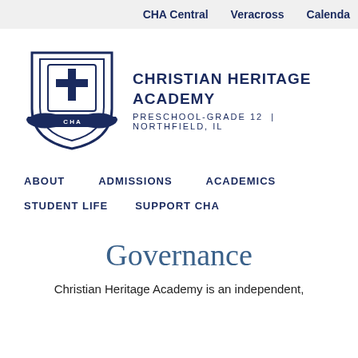CHA Central    Veracross    Calendar
[Figure (logo): Christian Heritage Academy shield logo with cross and CHA banner]
CHRISTIAN HERITAGE ACADEMY
PRESCHOOL-GRADE 12 | NORTHFIELD, IL
ABOUT    ADMISSIONS    ACADEMICS    STUDENT LIFE    SUPPORT CHA
Governance
Christian Heritage Academy is an independent,